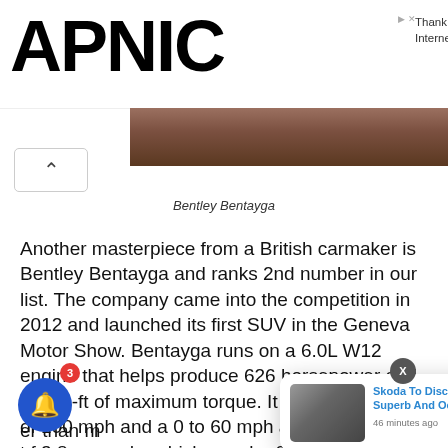APNIC
Thank you for helping us measure the Internet.
[Figure (photo): Bentley Bentayga car image strip, partially visible]
Bentley Bentayga
Another masterpiece from a British carmaker is Bentley Bentayga and ranks 2nd number in our list. The company came into the competition in 2012 and launched its first SUV in the Geneva Motor Show. Bentayga runs on a 6.0L W12 engine that helps produce 626 horsepower and 664 lb-ft of maximum torque. It has a top speed of 190 mph and a 0 to 60 mph acceleration time of 3.8 seconds, which may be 0.1 seconds mo[re] [fast]er than m[ost on the marke]t.
[Figure (photo): Skoda car thumbnail in notification popup]
Skoda To Discontinue Superb And Octavia In
46 minutes ago